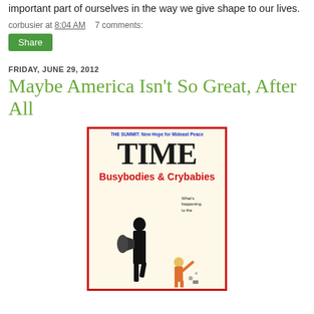important part of ourselves in the way we give shape to our lives.
corbusier at 8:04 AM    7 comments:
Share
FRIDAY, JUNE 29, 2012
Maybe America Isn't So Great, After All
[Figure (photo): TIME magazine cover showing 'Busybodies & Crybabies' issue with tagline 'What's happening to the American character?' and header 'THE SUMMIT: New Hope for Mideast Peace'. Features a cartoon illustration of two caricature figures.]